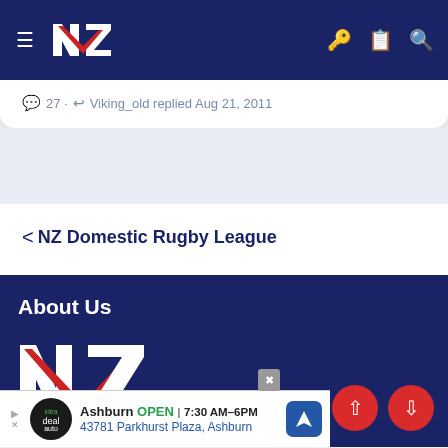NVZ Logo navigation bar with hamburger menu, key icon, clipboard icon, search icon
27 · Viking_old replied Aug 21, 2011
< NZ Domestic Rugby League
About Us
[Figure (logo): NVZ rugby league logo, large version in footer, white and red on dark blue background]
Ashburn OPEN | 7:30 AM–6PM 43781 Parkhurst Plaza, Ashburn